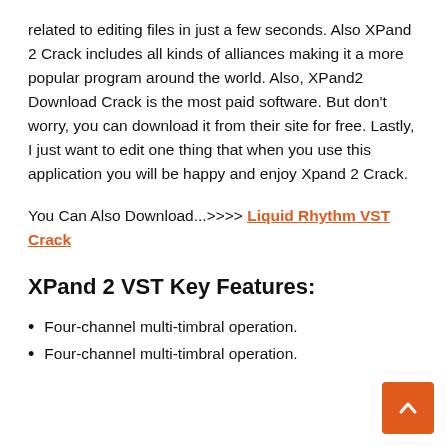related to editing files in just a few seconds. Also XPand 2 Crack includes all kinds of alliances making it a more popular program around the world. Also, XPand2 Download Crack is the most paid software. But don't worry, you can download it from their site for free. Lastly, I just want to edit one thing that when you use this application you will be happy and enjoy Xpand 2 Crack.
You Can Also Download...>>>> Liquid Rhythm VST Crack
XPand 2 VST Key Features:
Four-channel multi-timbral operation.
Four-channel multi-timbral operation.